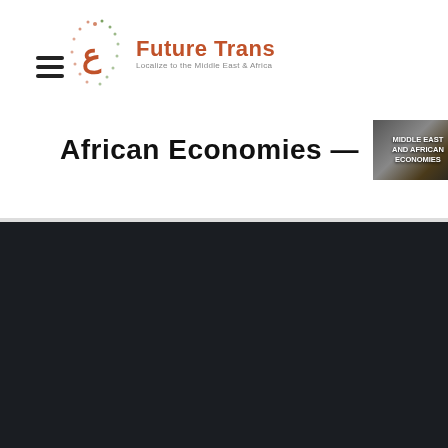[Figure (logo): Future Trans logo with Arabic calligraphy mark and text 'Future Trans - Localize to the Middle East & Africa']
African Economies —
[Figure (photo): Thumbnail image with text 'MIDDLE EAST AND AFRICAN ECONOMIES']
[Figure (logo): Future Trans white logo on dark background with Arabic calligraphy mark and tagline 'Localize to the Middle East & Africa']
Future Trans is an ISO 17100 certified